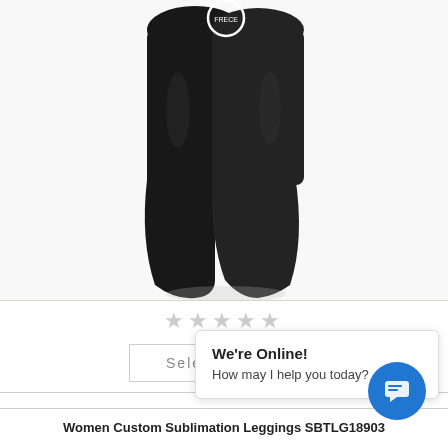[Figure (photo): Black women's sublimation leggings shown from front/back view on a model, full leg view, solid black color]
★★★★★
Select options
We're Online! How may I help you today?
Women Custom Sublimation Leggings SBTLG18903